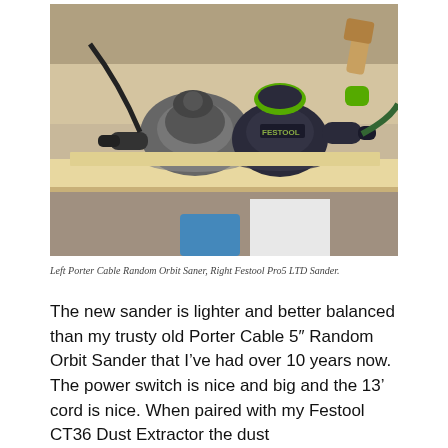[Figure (photo): Two random orbit sanders side by side on a workbench. Left: grey Porter Cable Random Orbit Sander. Right: dark Festool Pro5 LTD Sander with green accents. Workshop background with lumber and tools.]
Left Porter Cable Random Orbit Saner, Right Festool Pro5 LTD Sander.
The new sander is lighter and better balanced than my trusty old Porter Cable 5" Random Orbit Sander that I've had over 10 years now. The power switch is nice and big and the 13' cord is nice. When paired with my Festool CT36 Dust Extractor the dust